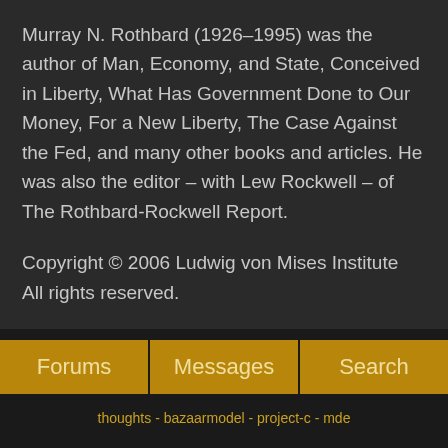Murray N. Rothbard (1926–1995) was the author of Man, Economy, and State, Conceived in Liberty, What Has Government Done to Our Money, For a New Liberty, The Case Against the Fed, and many other books and articles. He was also the editor – with Lew Rockwell – of The Rothbard-Rockwell Report.
Copyright © 2006 Ludwig von Mises Institute
All rights reserved.
Forums   Messages   Search
thoughts - bazaarmodel - project-c - mde